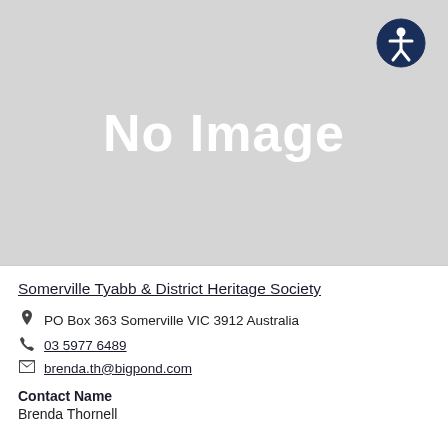[Figure (other): Gray placeholder image with white bold text reading 'No Image' and an accessibility icon (person in circle) in the top right corner]
Somerville Tyabb & District Heritage Society
PO Box 363 Somerville VIC 3912 Australia
03 5977 6489
brenda.th@bigpond.com
Contact Name
Brenda Thornell